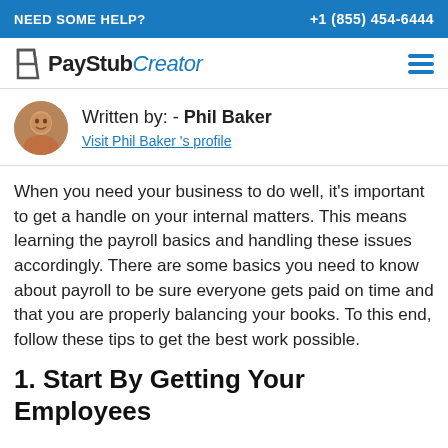NEED SOME HELP?  +1 (855) 454-6444
[Figure (logo): PayStubCreator logo with hamburger menu icon]
Written by: - Phil Baker
Visit Phil Baker 's profile
When you need your business to do well, it's important to get a handle on your internal matters. This means learning the payroll basics and handling these issues accordingly. There are some basics you need to know about payroll to be sure everyone gets paid on time and that you are properly balancing your books. To this end, follow these tips to get the best work possible.
1. Start By Getting Your Employees